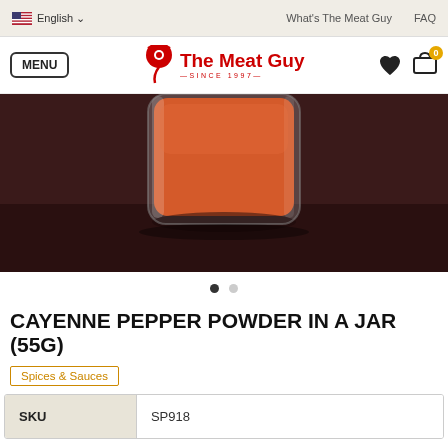English | What's The Meat Guy | FAQ
[Figure (logo): The Meat Guy logo with bull icon, SINCE 1997, with MENU button, heart and cart icons]
[Figure (photo): Close-up photo of a glass jar filled with red-orange cayenne pepper powder on a dark wooden surface]
CAYENNE PEPPER POWDER IN A JAR (55G)
Spices & Sauces
| SKU |  |
| --- | --- |
| SKU | SP918 |